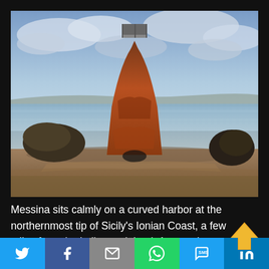[Figure (photo): A rusted shipwreck standing upright on rocky shore with cloudy sky and calm sea in background, Messina, Sicily]
Messina sits calmly on a curved harbor at the northernmost tip of Sicily’s Ionian Coast, a few miles from the Italian mainland. A central transport hub for centuries, it remains an influential gateway to and from the rest...
[Figure (other): Social media share bar with Twitter, Facebook, Email, WhatsApp, SMS, LinkedIn buttons]